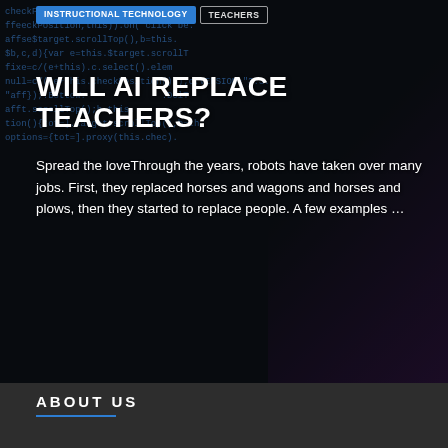INSTRUCTIONAL TECHNOLOGY  TEACHERS
WILL AI REPLACE TEACHERS?
Spread the loveThrough the years, robots have taken over many jobs. First, they replaced horses and wagons and horses and plows, then they started to replace people. A few examples …
ABOUT US
Since technology is not going anywhere and does more good than harm, adapting is the best course of action. That is where The Tech Edvocate comes in. We plan to cover the PreK-12 and Higher Education EdTech sectors and provide our readers with the latest news and opinion on the subject. From time to time, I will invite other voices to weigh in on important issues in EdTech. We hope to provide a well-rounded, multi-faceted look at the past, present, the future of